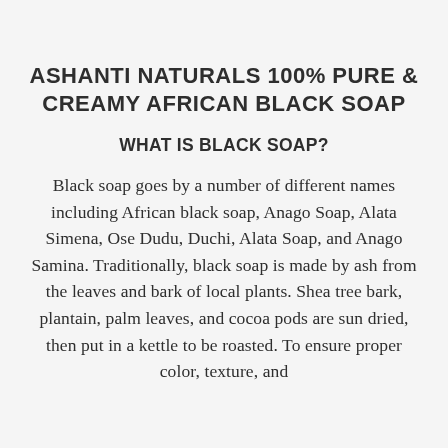ASHANTI NATURALS 100% PURE & CREAMY AFRICAN BLACK SOAP
WHAT IS BLACK SOAP?
Black soap goes by a number of different names including African black soap, Anago Soap, Alata Simena, Ose Dudu, Duchi, Alata Soap, and Anago Samina. Traditionally, black soap is made by ash from the leaves and bark of local plants. Shea tree bark, plantain, palm leaves, and cocoa pods are sun dried, then put in a kettle to be roasted. To ensure proper color, texture, and